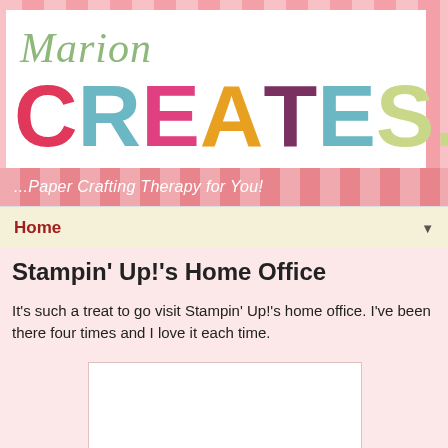[Figure (logo): Marion Creates blog logo with colorful large letters spelling CREATES and pink striped background]
...Paper Crafting Therapy for You!
Home ▼
Stampin' Up!'s Home Office
It's such a treat to go visit Stampin' Up!'s home office. I've been there four times and I love it each time.
[Figure (photo): White image placeholder box]